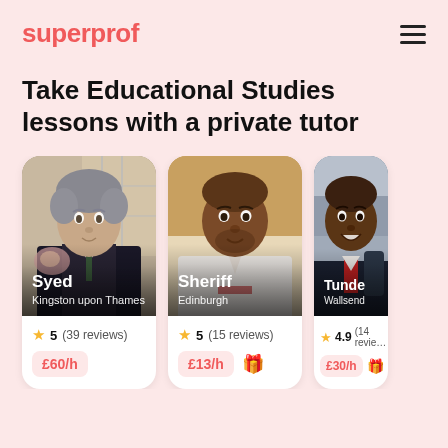superprof
Take Educational Studies lessons with a private tutor
[Figure (photo): Tutor card for Syed, Kingston upon Thames. Rating: 5 (39 reviews). Price: £60/h]
[Figure (photo): Tutor card for Sheriff, Edinburgh. Rating: 5 (15 reviews). Price: £13/h]
[Figure (photo): Tutor card for Tunde, Wallsend. Rating: 4.9 (14 reviews). Price: £30/h]